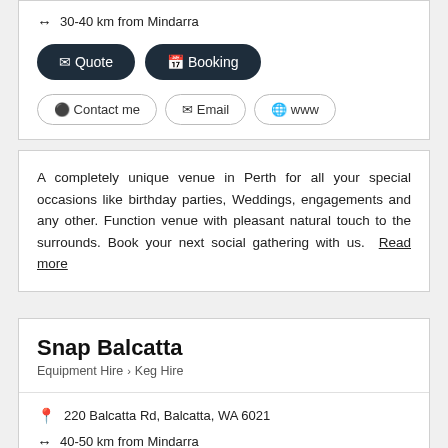30-40 km from Mindarra
Quote
Booking
Contact me
Email
www
A completely unique venue in Perth for all your special occasions like birthday parties, Weddings, engagements and any other. Function venue with pleasant natural touch to the surrounds. Book your next social gathering with us. Read more
Snap Balcatta
Equipment Hire > Keg Hire
220 Balcatta Rd, Balcatta, WA 6021
40-50 km from Mindarra